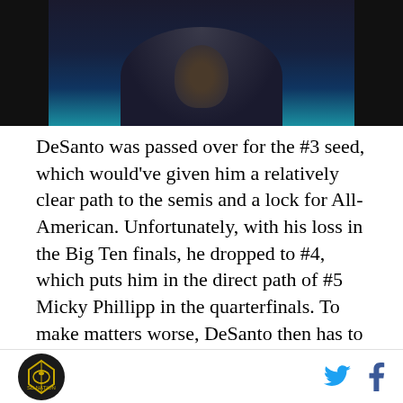[Figure (photo): Dark photo strip showing a person, partially cropped at the top of the page]
DeSanto was passed over for the #3 seed, which would've given him a relatively clear path to the semis and a lock for All-American. Unfortunately, with his loss in the Big Ten finals, he dropped to #4, which puts him in the direct path of #5 Micky Phillipp in the quarterfinals. To make matters worse, DeSanto then has to square off with #1 Daton Fix in the semis for the shot at the finals. I'm sure we can twist this and claim that Phillippi has the same view, but regardless, it's a rough draw for both.
The biggest factor surrounding DeSanto right now is
Logo and social media icons (Twitter, Facebook)